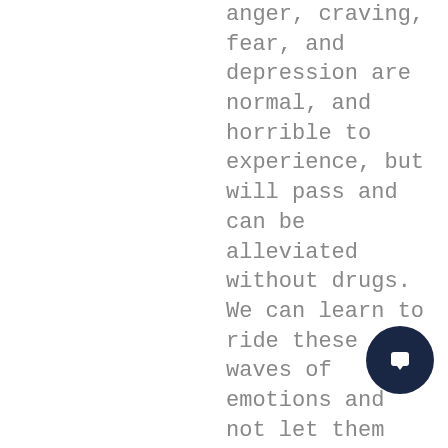anger, craving, fear, and depression are normal, and horrible to experience, but will pass and can be alleviated without drugs. We can learn to ride these waves of emotions and not let them build up to a breaking point.
What 3 tools can we use right now to help heal the addiction crisis?
My philosophy is that when you have a major issue to solve, you need to address it from many different levels of consciousness and understanding.
1 Support and expand proven programs and methods like these:
The spiritually based 12-Step programs. They are the most successful programs for addicts, but as a stand alone program, it's rate of